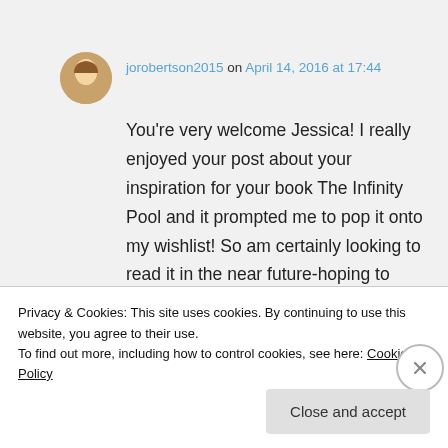jorobertson2015 on April 14, 2016 at 17:44
You’re very welcome Jessica! I really enjoyed your post about your inspiration for your book The Infinity Pool and it prompted me to pop it onto my wishlist! So am certainly looking to read it in the near future-hoping to have a nice warm holiday to read it on!! 🙂
Liked by 2 people
Privacy & Cookies: This site uses cookies. By continuing to use this website, you agree to their use.
To find out more, including how to control cookies, see here: Cookie Policy
Close and accept